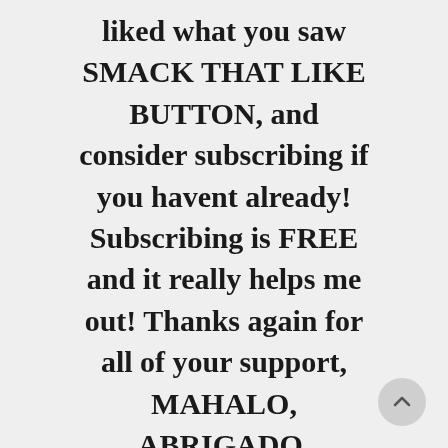liked what you saw SMACK THAT LIKE BUTTON, and consider subscribing if you havent already! Subscribing is FREE and it really helps me out! Thanks again for all of your support, MAHALO, ABRIGADO,